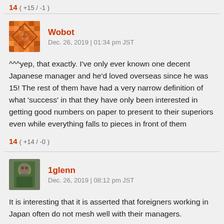14  ( +15 / -1 )
Wobot
Dec. 26, 2019 | 01:34 pm JST
^^^yep, that exactly. I've only ever known one decent Japanese manager and he'd loved overseas since he was 15! The rest of them have had a very narrow definition of what 'success' in that they have only been interested in getting good numbers on paper to present to their superiors even while everything falls to pieces in front of them
14  ( +14 / -0 )
1glenn
Dec. 26, 2019 | 08:12 pm JST
It is interesting that it is asserted that foreigners working in Japan often do not mesh well with their managers.
Conversely, over here in the States, I had a supervisor who